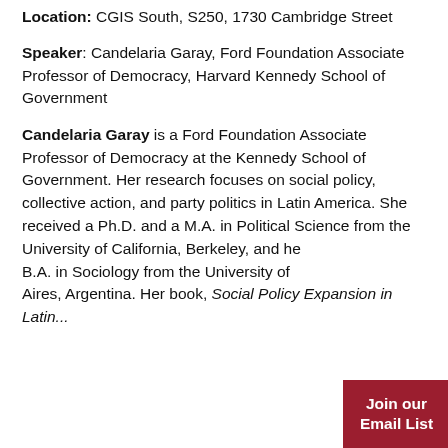Location: CGIS South, S250, 1730 Cambridge Street
Speaker: Candelaria Garay, Ford Foundation Associate Professor of Democracy, Harvard Kennedy School of Government
Candelaria Garay is a Ford Foundation Associate Professor of Democracy at the Kennedy School of Government. Her research focuses on social policy, collective action, and party politics in Latin America. She received a Ph.D. and a M.A. in Political Science from the University of California, Berkeley, and her B.A. in Sociology from the University of Buenos Aires, Argentina. Her book, Social Policy Expansion in Latin...
Join our Email List